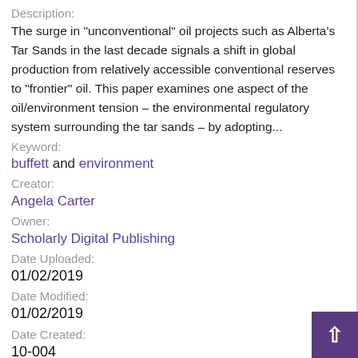Description:
The surge in "unconventional" oil projects such as Alberta's Tar Sands in the last decade signals a shift in global production from relatively accessible conventional reserves to "frontier" oil. This paper examines one aspect of the oil/environment tension – the environmental regulatory system surrounding the tar sands – by adopting...
Keyword:
buffett and environment
Creator:
Angela Carter
Owner:
Scholarly Digital Publishing
Date Uploaded:
01/02/2019
Date Modified:
01/02/2019
Date Created:
10-004
Resource Type:
Research Paper